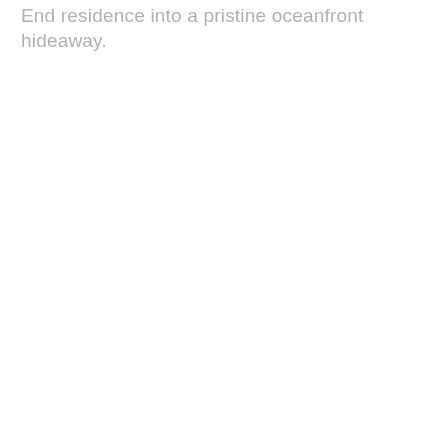End residence into a pristine oceanfront hideaway.